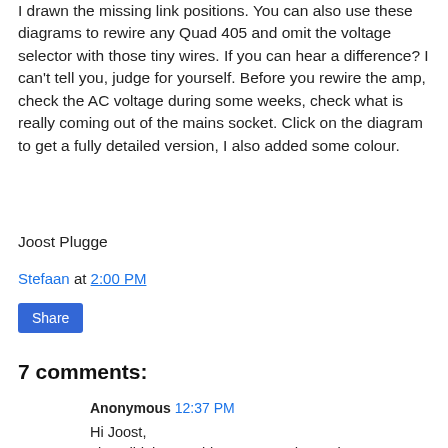I drawn the missing link positions. You can also use these diagrams to rewire any Quad 405 and omit the voltage selector with those tiny wires. If you can hear a difference? I can't tell you, judge for yourself. Before you rewire the amp, check the AC voltage during some weeks, check what is really coming out of the mains socket. Click on the diagram to get a fully detailed version, I also added some colour.
Joost Plugge
Stefaan at 2:00 PM
Share
7 comments:
Anonymous 12:37 PM
Hi Joost,
I just did the ac wiring on a quad 405 circa 1979 s/n:38xxx wired for 240vac as per your diagram but I got no voltage on the secondary. I measured the ac voltage from the wall on the primary and 007...